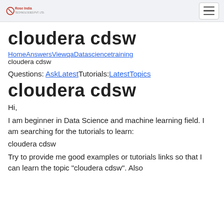Rose India Technologies Pvt Ltd
cloudera cdsw
HomeAnswersViewqaDatasciencetraining cloudera cdsw
Questions: AskLatestTutorials:LatestTopics
cloudera cdsw
Hi,
I am beginner in Data Science and machine learning field. I am searching for the tutorials to learn:
cloudera cdsw
Try to provide me good examples or tutorials links so that I can learn the topic "cloudera cdsw". Also